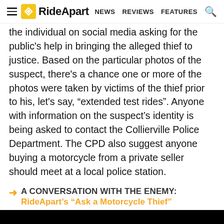RideApart — NEWS  REVIEWS  FEATURES
the individual on social media asking for the public's help in bringing the alleged thief to justice. Based on the particular photos of the suspect, there's a chance one or more of the photos were taken by victims of the thief prior to his, let's say, “extended test rides”. Anyone with information on the suspect’s identity is being asked to contact the Collierville Police Department. The CPD also suggest anyone buying a motorcycle from a private seller should meet at a local police station.
A CONVERSATION WITH THE ENEMY: RideApart’s “Ask a Motorcycle Thief”
[Figure (photo): Black video thumbnail/placeholder image]